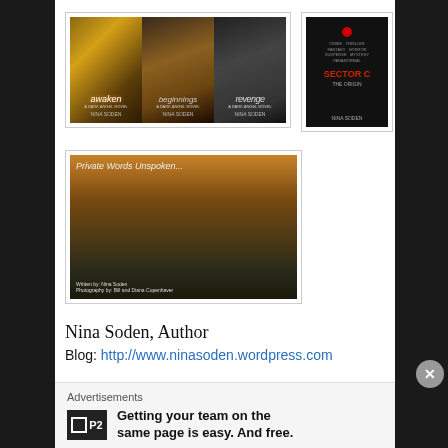[Figure (illustration): Three book covers side by side: 'awaken', 'beginnings', 'revenge' - a Dark Angel Novel series by Nina Soden]
[Figure (illustration): Book cover for 'Sector C - The Origin' by Nina Soden, dark background with red title text]
[Figure (illustration): Book cover for 'Private Words Unspoken...' by Nina Soden, photography by Bill and Diana Copenhaver, sunset landscape]
Nina Soden, Author
Blog: http://www.ninasoden.wordpress.com
Advertisements
Getting your team on the same page is easy. And free.